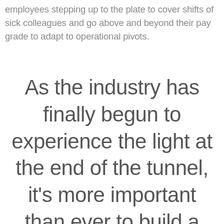employees stepping up to the plate to cover shifts of sick colleagues and go above and beyond their pay grade to adapt to operational pivots.
As the industry has finally begun to experience the light at the end of the tunnel, it's more important than ever to build a solid foundation in every area of